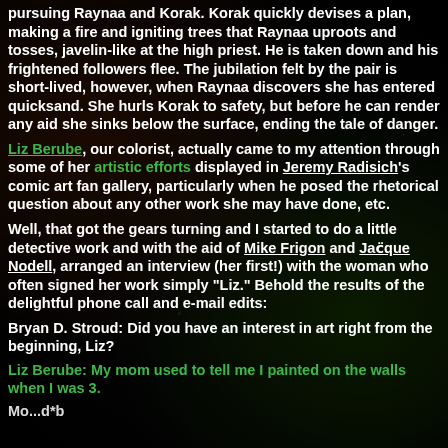pursuing Raynaa and Korak. Korak quickly devises a plan, making a fire and igniting trees that Raynaa uproots and tosses, javelin-like at the high priest. He is taken down and his frightened followers flee. The jubilation felt by the pair is short-lived, however, when Raynaa discovers she has entered quicksand. She hurls Korak to safety, but before he can render any aid she sinks below the surface, ending the tale of danger.
Liz Berube, our colorist, actually came to my attention through some of her artistic efforts displayed in Jeremy Radisich's comic art fan gallery, particularly when he posed the rhetorical question about any other work she may have done, etc.
Well, that got the gears turning and I started to do a little detective work and with the aid of Mike Frigon and Jacque Nodell, arranged an interview (her first!) with the woman who often signed her work simply "Liz." Behold the results of the delightful phone call and e-mail edits:
Bryan D. Stroud: Did you have an interest in art right from the beginning, Liz?
Liz Berube: My mom used to tell me I painted on the walls when I was 3.
Mo...d*b (partial, cut off at bottom)